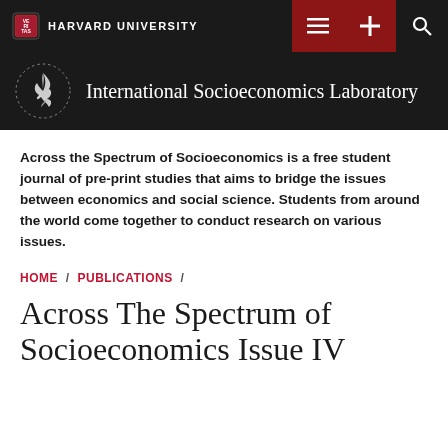[Figure (screenshot): Harvard University top navigation bar with dark background, Harvard shield logo, 'HARVARD UNIVERSITY' text, and red icon buttons for menu, add, and search]
[Figure (logo): International Socioeconomics Laboratory banner with dark background, stylized bird/flame logo in a dotted circle, and white serif text reading 'International Socioeconomics Laboratory']
Across the Spectrum of Socioeconomics is a free student journal of pre-print studies that aims to bridge the issues between economics and social science. Students from around the world come together to conduct research on various issues.
HOME / PUBLICATIONS /
Across The Spectrum of Socioeconomics Issue IV